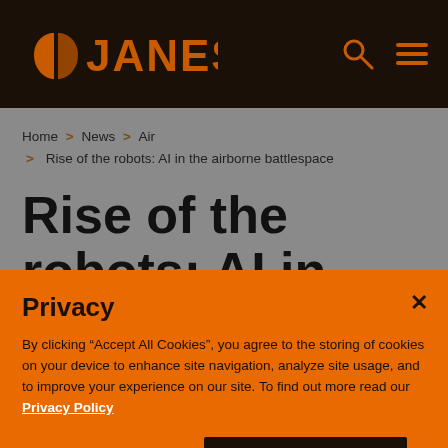JANES
Home > News > Air > Rise of the robots: AI in the airborne battlespace
Rise of the robots: AI in the airborne
Privacy
By clicking “Accept All Cookies”, you agree to the storing of cookies on your device to enhance site navigation, analyze site usage, and to improve your experience on our site. To find out more read our Privacy Policy
Cookies Settings | Accept All Cookies